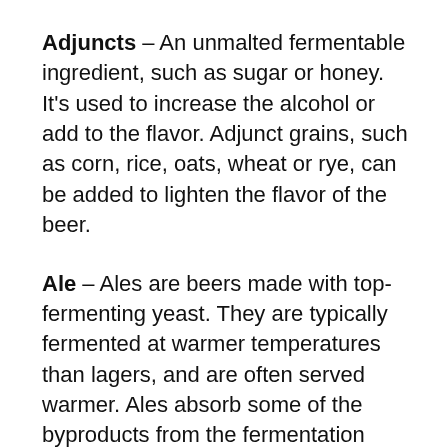Adjuncts – An unmalted fermentable ingredient, such as sugar or honey. It's used to increase the alcohol or add to the flavor. Adjunct grains, such as corn, rice, oats, wheat or rye, can be added to lighten the flavor of the beer.
Ale – Ales are beers made with top-fermenting yeast. They are typically fermented at warmer temperatures than lagers, and are often served warmer. Ales absorb some of the byproducts from the fermentation which cause can a fruity or eatery nose or flavor.
Ale yeast – A top-fermenting yeast used to make ales. Ale yeast ferments at warmer temperatures (close to room temperature). The many varieties of ale yeast used for different